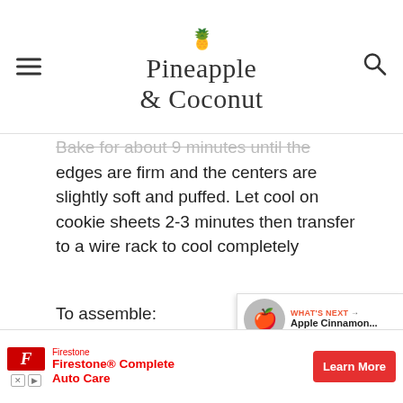Pineapple & Coconut
Bake for about 9 minutes until the edges are firm and the centers are slightly soft and puffed. Let cool on cookie sheets 2-3 minutes then transfer to a wire rack to cool completely
To assemble:
Lightly dust powdered sugar over the top half of the cookies (The ones with the cutouts) and set aside. Next, spread about 1 ½ tsp. of raspberry jam on the bottom of one of the
[Figure (screenshot): What's Next widget showing Apple Cinnamon... article with thumbnail]
[Figure (screenshot): Firestone Complete Auto Care advertisement banner with Learn More CTA button]